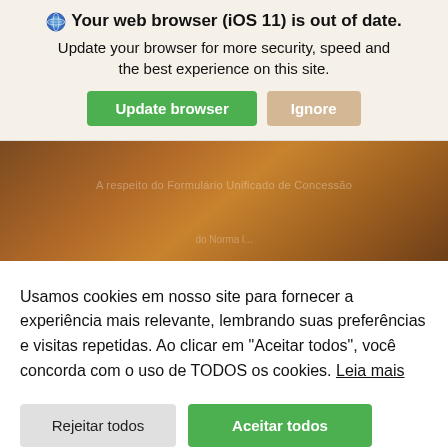Your web browser (iOS 11) is out of date. Update your browser for more security, speed and the best experience on this site.
[Figure (screenshot): Brown/wood-textured background image with faint overlaid text, partially visible behind a cookie consent overlay]
Usamos cookies em nosso site para fornecer a experiência mais relevante, lembrando suas preferências e visitas repetidas. Ao clicar em "Aceitar todos", você concorda com o uso de TODOS os cookies. Leia mais